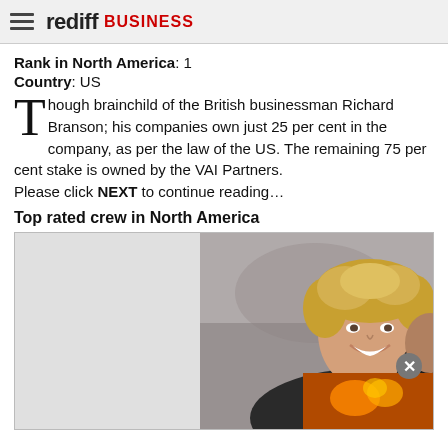rediff BUSINESS
Rank in North America: 1
Country: US
Though brainchild of the British businessman Richard Branson; his companies own just 25 per cent in the company, as per the law of the US. The remaining 75 per cent stake is owned by the VAI Partners. Please click NEXT to continue reading…
Top rated crew in North America
[Figure (photo): A smiling female flight attendant with curly blonde hair wearing a dark vest and blue scarf/neckerchief, with a partially visible image overlay in the bottom right corner and a close button.]